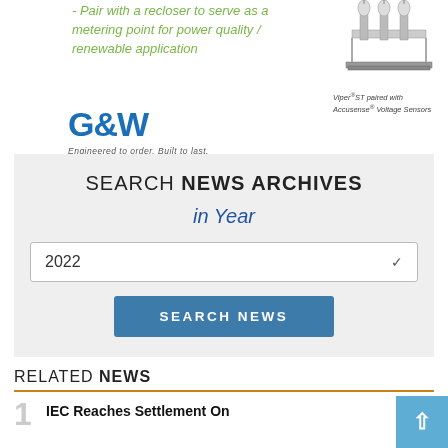- Pair with a recloser to serve as a metering point for power quality / renewable application
[Figure (photo): Viper ST paired with Accusense Voltage Sensors - electrical equipment photo]
Viper®ST paired with Accusense® Voltage Sensors
[Figure (logo): G&W Electric logo - blue text, Engineered to order. Built to last.]
SEARCH NEWS ARCHIVES
in Year
2022
SEARCH NEWS
RELATED NEWS
IEC Reaches Settlement On